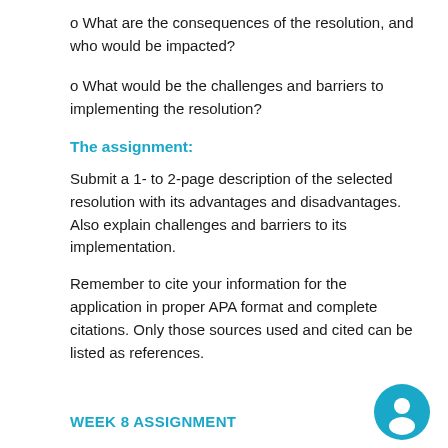o What are the consequences of the resolution, and who would be impacted?
o What would be the challenges and barriers to implementing the resolution?
The assignment:
Submit a 1- to 2-page description of the selected resolution with its advantages and disadvantages. Also explain challenges and barriers to its implementation.
Remember to cite your information for the application in proper APA format and complete citations. Only those sources used and cited can be listed as references.
WEEK 8 ASSIGNMENT